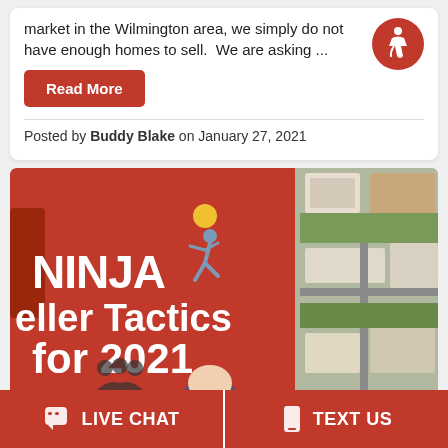market in the Wilmington area, we simply do not have enough homes to sell.  We are asking ...
Read More
Posted by Buddy Blake on January 27, 2021
[Figure (photo): NINJA Seller Tactics for 2021 promotional banner with orange background, running figure graphic, and aerial photo of houses on right side, plus a man in suit at bottom center]
LIVE CHAT
TEXT US